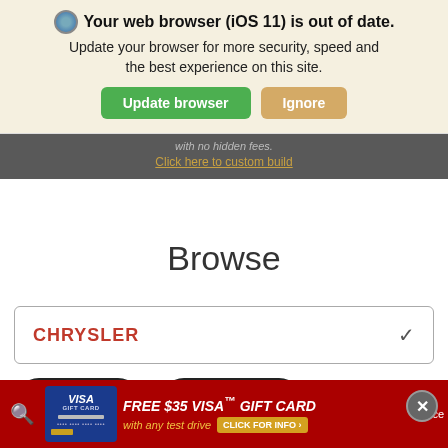Your web browser (iOS 11) is out of date. Update your browser for more security, speed and the best experience on this site.
Update browser | Ignore
with no hidden fees.
Click here to custom build
Browse
CHRYSLER
Texto
Text Us
[Figure (screenshot): Advertisement bar with Visa Gift Card offer: FREE $35 VISA GIFT CARD with any test drive. CLICK FOR INFO button. Search icon on left. Close button on top right corner.]